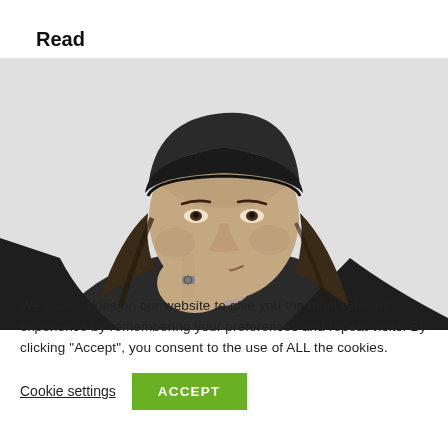Read more
[Figure (photo): Black and white portrait photograph of a middle-aged woman in dark clothing and a dark beanie hat, resting her cheek on her hand, with a ring visible on her finger.]
We use cookies on our website to give you the most relevant experience by remembering your preferences and repeat visits. By clicking “Accept”, you consent to the use of ALL the cookies.
Cookie settings
ACCEPT